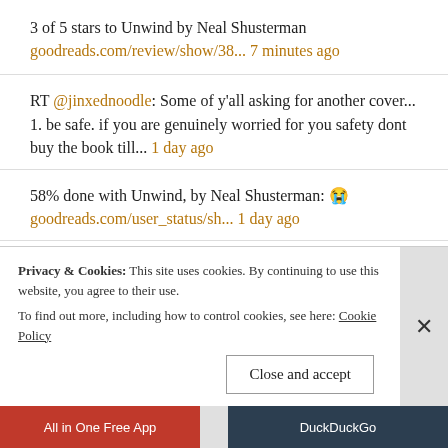3 of 5 stars to Unwind by Neal Shusterman
goodreads.com/review/show/38... 7 minutes ago
RT @jinxednoodle: Some of y'all asking for another cover... 1. be safe. if you are genuinely worried for you safety dont buy the book till... 1 day ago
58% done with Unwind, by Neal Shusterman: 😭 goodreads.com/user_status/sh... 1 day ago
RT @shipperinjapan: This was my first time listening to the...
Privacy & Cookies: This site uses cookies. By continuing to use this website, you agree to their use.
To find out more, including how to control cookies, see here: Cookie Policy
Close and accept